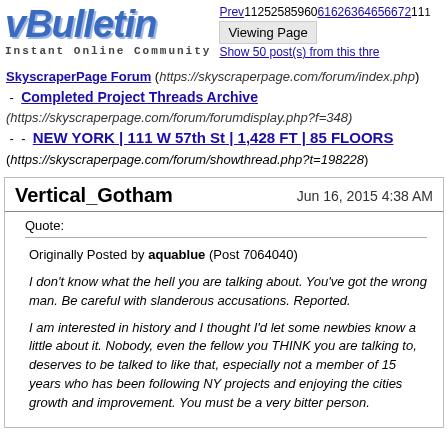[Figure (logo): vBulletin logo with 'Instant Online Community' tagline]
Prev112525859606162636465667211... Viewing Page | Show 50 post(s) from this thread
SkyscraperPage Forum (https://skyscraperpage.com/forum/index.php) - Completed Project Threads Archive (https://skyscraperpage.com/forum/forumdisplay.php?f=348) - - NEW YORK | 111 W 57th St | 1,428 FT | 85 FLOORS (https://skyscraperpage.com/forum/showthread.php?t=198228)
Vertical_Gotham Jun 16, 2015 4:38 AM
Quote:
Originally Posted by aquablue (Post 7064040)
I don't know what the hell you are talking about. You've got the wrong man. Be careful with slanderous accusations. Reported.

I am interested in history and I thought I'd let some newbies know a little about it. Nobody, even the fellow you THINK you are talking to, deserves to be talked to like that, especially not a member of 15 years who has been following NY projects and enjoying the cities growth and improvement. You must be a very bitter person.